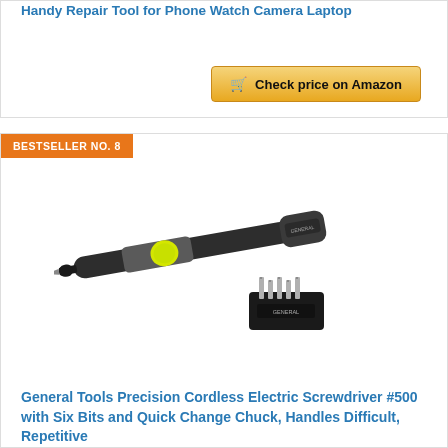Handy Repair Tool for Phone Watch Camera Laptop
[Figure (other): Check price on Amazon button with shopping cart icon]
BESTSELLER NO. 8
[Figure (photo): General Tools Precision Cordless Electric Screwdriver #500 with six bits in a holder block, pen-style with yellow button]
General Tools Precision Cordless Electric Screwdriver #500 with Six Bits and Quick Change Chuck, Handles Difficult, Repetitive